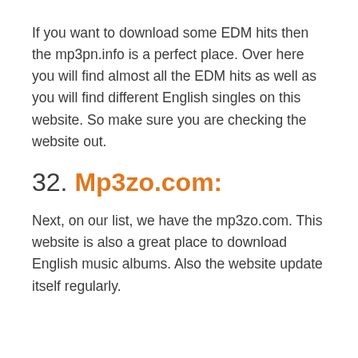If you want to download some EDM hits then the mp3pn.info is a perfect place. Over here you will find almost all the EDM hits as well as you will find different English singles on this website. So make sure you are checking the website out.
32. Mp3zo.com:
Next, on our list, we have the mp3zo.com. This website is also a great place to download English music albums. Also the website update itself regularly.